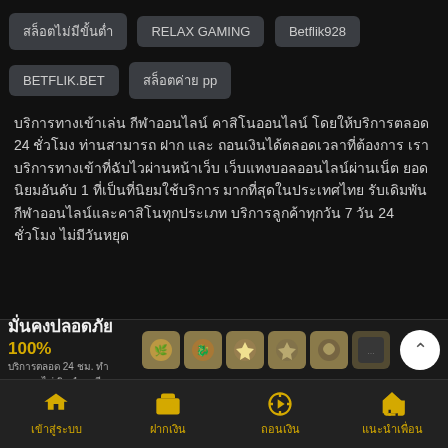สล็อตไม่มีขั้นต่ำ
RELAX GAMING
Betflik928
BETFLIK.BET
สล็อตค่าย pp
บริการทางเข้าเล่น กีฬาออนไลน์ คาสิโนออนไลน์ โดยให้บริการตลอด 24 ชั่วโมง ท่านสามารถ ฝาก และ ถอนเงินได้ตลอดเวลาที่ต้องการ เราบริการทางเข้าที่ฉับไวผ่านหน้าเว็บ เว็บแทงบอลออนไลน์ผ่านเน็ต ยอดนิยมอันดับ 1 ที่เป็นที่นิยมใช้บริการ มากที่สุดในประเทศไทย รับเดิมพันกีฬาออนไลน์และคาสิโนทุกประเภท บริการลูกค้าทุกวัน 7 วัน 24 ชั่วโมง ไม่มีวันหยุด
มั่นคงปลอดภัย 100% บริการตลอด 24 ชม. ทำรายการไม่เกิน 1 นาที
เข้าสู่ระบบ | ฝากเงิน | ถอนเงิน | แนะนำเพื่อน